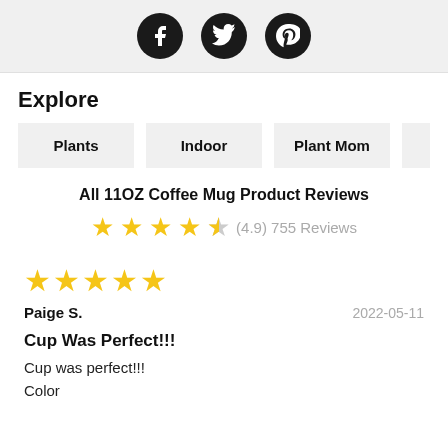[Figure (illustration): Social media icons: Facebook, Twitter, Pinterest in black circles]
Explore
Plants
Indoor
Plant Mom
Plant Da
All 11OZ Coffee Mug Product Reviews
(4.9) 755 Reviews
[Figure (infographic): 5 yellow stars review rating for Paige S.]
Paige S.
2022-05-11
Cup Was Perfect!!!
Cup was perfect!!!
Color